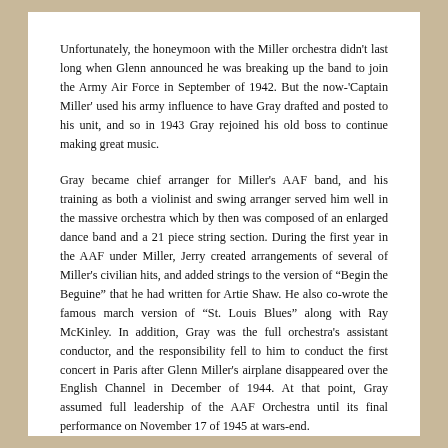Unfortunately, the honeymoon with the Miller orchestra didn't last long when Glenn announced he was breaking up the band to join the Army Air Force in September of 1942. But the now-'Captain Miller' used his army influence to have Gray drafted and posted to his unit, and so in 1943 Gray rejoined his old boss to continue making great music.
Gray became chief arranger for Miller's AAF band, and his training as both a violinist and swing arranger served him well in the massive orchestra which by then was composed of an enlarged dance band and a 21 piece string section. During the first year in the AAF under Miller, Jerry created arrangements of several of Miller's civilian hits, and added strings to the version of "Begin the Beguine" that he had written for Artie Shaw. He also co-wrote the famous march version of "St. Louis Blues" along with Ray McKinley. In addition, Gray was the full orchestra's assistant conductor, and the responsibility fell to him to conduct the first concert in Paris after Glenn Miller's airplane disappeared over the English Channel in December of 1944. At that point, Gray assumed full leadership of the AAF Orchestra until its final performance on November 17 of 1945 at wars-end.